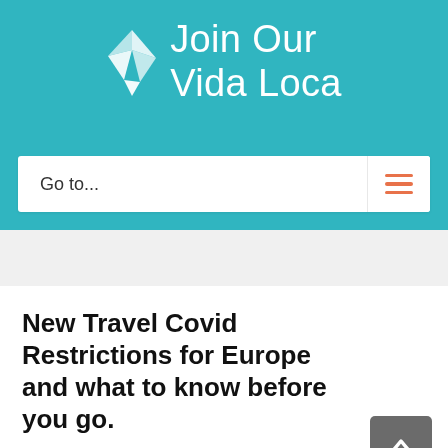[Figure (logo): Join Our Vida Loca logo with teal background, white origami-style bird/paper icon on left and white text 'Join Our Vida Loca' on right]
Go to...
New Travel Covid Restrictions for Europe and what to know before you go.
New Travel Covid Restrictions for Europe and what to